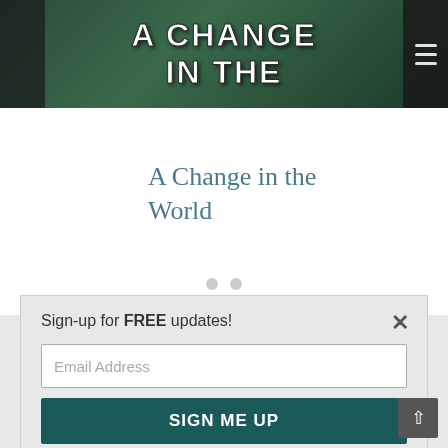[Figure (screenshot): Hero banner image showing person in blue jacket with overlaid bold white text 'A CHANGE IN THE' on green/dark background, with dark strips on left and right edges and hamburger menu icon on right]
A Change in the World
[Figure (other): Two gray circular carousel navigation dots]
[Figure (logo): Disability Solutions logo: DIS in teal, ABILITY in orange with people icons and upward arrow, SOLUTIONS in teal below orange line, tagline @ABILITY BEYOND]
Sign-up for FREE updates!
Email Address
SIGN ME UP